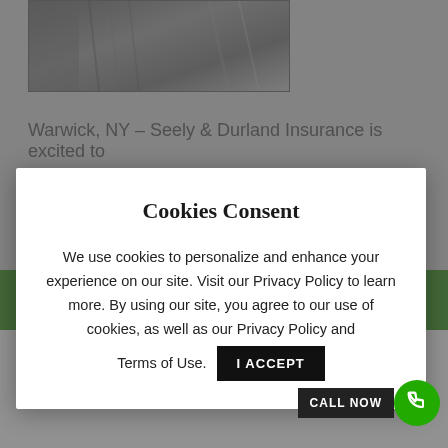[Figure (photo): Partial photo of a person, shown cropped at top left, with building or suit texture visible]
Warwick, NY – Seely & Durland Insurance is excited to
Cookies Consent
We use cookies to personalize and enhance your experience on our site. Visit our Privacy Policy to learn more. By using our site, you agree to our use of cookies, as well as our Privacy Policy and Terms of Use.
I ACCEPT
GET A QUOTE
Hudson Valley, Hudson Valley Insurance, independent agent, insurance, Middletown NY, Monroe NY
CALL NOW